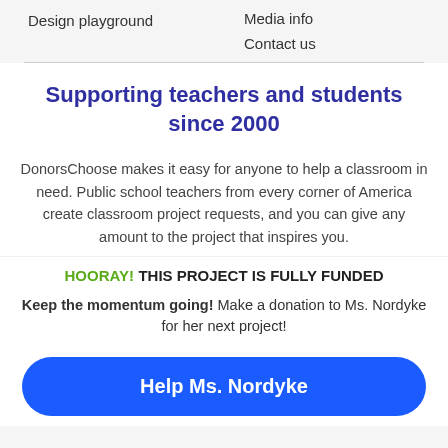Design playground
Media info
Contact us
Supporting teachers and students since 2000
DonorsChoose makes it easy for anyone to help a classroom in need. Public school teachers from every corner of America create classroom project requests, and you can give any amount to the project that inspires you.
HOORAY! THIS PROJECT IS FULLY FUNDED
Keep the momentum going! Make a donation to Ms. Nordyke for her next project!
Help Ms. Nordyke